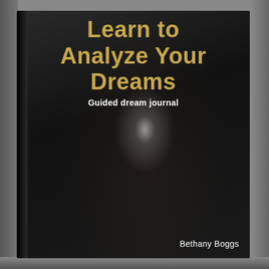[Figure (photo): Photograph of a book cover titled 'Learn to Analyze Your Dreams - Guided dream journal' by Bethany Boggs. The cover is dark/black with a glossy finish showing a faint nighttime scene with a bright light glare. Title text is in gold/tan color and subtitle in white.]
Learn to Analyze Your Dreams
Guided dream journal
Bethany Boggs